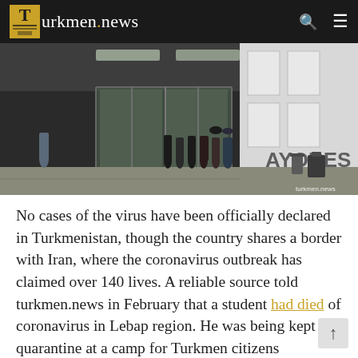Turkmen.news
[Figure (photo): People standing outside an airport terminal at night, likely Turkmenistan evacuees from China. The building shows partial signage reading 'AYORES'. A watermark reads 'turkmen.news'.]
No cases of the virus have been officially declared in Turkmenistan, though the country shares a border with Iran, where the coronavirus outbreak has claimed over 140 lives. A reliable source told turkmen.news in February that a student had died of coronavirus in Lebap region. He was being kept in quarantine at a camp for Turkmen citizens evacuated from China.